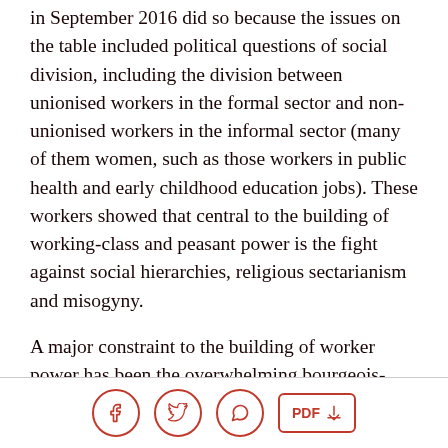in September 2016 did so because the issues on the table included political questions of social division, including the division between unionised workers in the formal sector and non-unionised workers in the informal sector (many of them women, such as those workers in public health and early childhood education jobs). These workers showed that central to the building of working-class and peasant power is the fight against social hierarchies, religious sectarianism and misogyny.
A major constraint to the building of worker power has been the overwhelming bourgeois-dominated
[Figure (other): Footer bar with social sharing icons: Facebook (f), Twitter (bird), WhatsApp (phone), and a PDF download button]